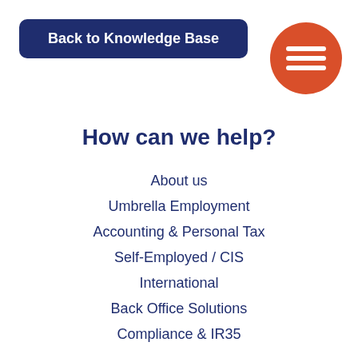Back to Knowledge Base
[Figure (illustration): Orange circle with three horizontal white lines (hamburger menu icon)]
How can we help?
About us
Umbrella Employment
Accounting & Personal Tax
Self-Employed / CIS
International
Back Office Solutions
Compliance & IR35
Contact us
Modern Slavery Statement
Gender Pay Gap